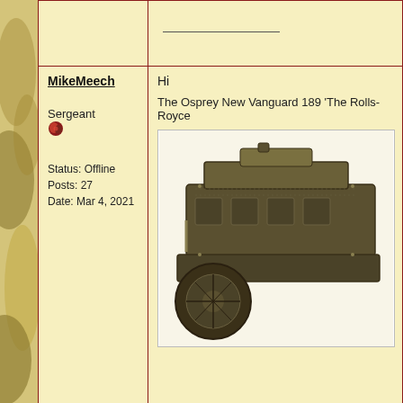MikeMeech
Sergeant
Status: Offline
Posts: 27
Date: Mar 4, 2021
Hi
The Osprey New Vanguard 189 'The Rolls-Royce
[Figure (illustration): Vintage sepia/green toned illustration of a military armored vehicle engine or tank component, shown in detailed engraving style from an Osprey New Vanguard book.]